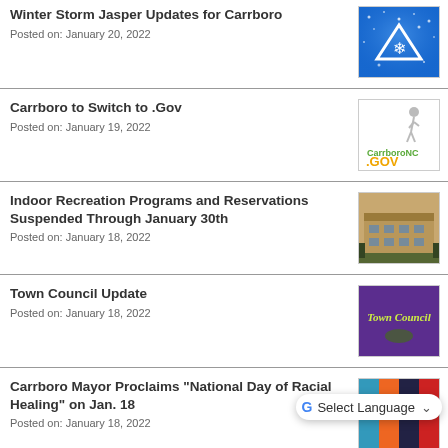Winter Storm Jasper Updates for Carrboro
Posted on: January 20, 2022
Carrboro to Switch to .Gov
Posted on: January 19, 2022
Indoor Recreation Programs and Reservations Suspended Through January 30th
Posted on: January 18, 2022
Town Council Update
Posted on: January 18, 2022
Carrboro Mayor Proclaims “National Day of Racial Healing” on Jan. 18
Posted on: January 18, 2022